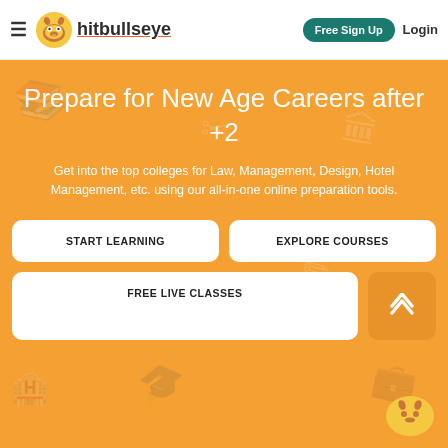hitbullseye — Free Sign Up  Login
Prepare for New Age Careers after +2
Get into the top colleges for Law, Management, Design, Hotel Management, etc. using our all-in-one online preparation tools.
START LEARNING
EXPLORE COURSES
FREE LIVE CLASSES